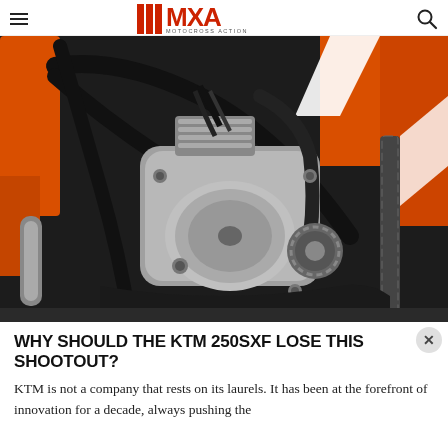MXA MOTOCROSS ACTION
[Figure (photo): Close-up photo of a KTM 250SXF motorcycle engine, showing the engine case, chain, sprocket, frame, orange plastics, and mechanical components.]
WHY SHOULD THE KTM 250SXF LOSE THIS SHOOTOUT?
KTM is not a company that rests on its laurels. It has been at the forefront of innovation for a decade, always pushing the